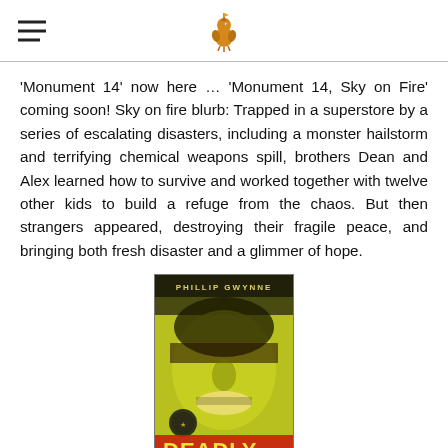[hamburger menu icon] [logo: Gumnut for Girls]
'Monument 14' now here … 'Monument 14, Sky on Fire' coming soon! Sky on fire blurb: Trapped in a superstore by a series of escalating disasters, including a monster hailstorm and terrifying chemical weapons spill, brothers Dean and Alex learned how to survive and worked together with twelve other kids to build a refuge from the chaos. But then strangers appeared, destroying their fragile peace, and bringing both fresh disaster and a glimmer of hope.
[Figure (photo): Book cover of 'Deadly, Unna?' by Phillip Gwynne, showing a face with a greenish-yellow tint, with the text 'DEADLY UNNA?' and 'Australian Rules' at the bottom.]
Gutsy and highly intelligent story about Blacky, a fourteen-